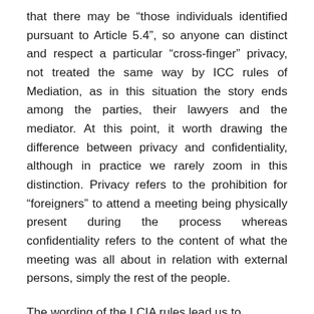that there may be “those individuals identified pursuant to Article 5.4”, so anyone can distinct and respect a particular “cross-finger” privacy, not treated the same way by ICC rules of Mediation, as in this situation the story ends among the parties, their lawyers and the mediator. At this point, it worth drawing the difference between privacy and confidentiality, although in practice we rarely zoom in this distinction. Privacy refers to the prohibition for “foreigners” to attend a meeting being physically present during the process whereas confidentiality refers to the content of what the meeting was all about in relation with external persons, simply the rest of the people.
The wording of the LCIA rules lead us to another fundamental difference, as the...